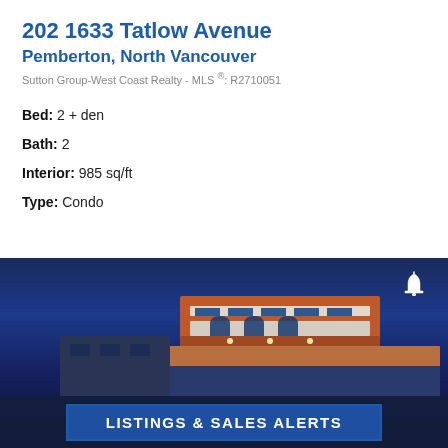202 1633 Tatlow Avenue
Pemberton, North Vancouver
Sutton Group-West Coast Realty - MLS ®: R2710051
Bed: 2 + den
Bath: 2
Interior: 985 sq/ft
Type: Condo
[Figure (photo): Exterior night photo of a modern multi-story condo building with illuminated windows against a deep blue dusk sky]
LISTINGS & SALES ALERTS